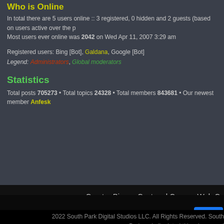Who is Online
In total there are 5 users online :: 3 registered, 0 hidden and 2 guests (based on users active over the p
Most users ever online was 2042 on Wed Apr 11, 2007 3:29 am
Registered users: Bing [Bot], Galdana, Google [Bot]
Legend: Administrators, Global moderators
Statistics
Total posts 705273 • Total topics 24328 • Total members 843681 • Our newest member Anfesk
Creator Bios   Cast and Crew   Web C
Do Not Sell My Personal Information   Terms of Use
Sh
2022 South Park Digital Studios LLC. All Rights Reserved. South Park and all related titles, logos and